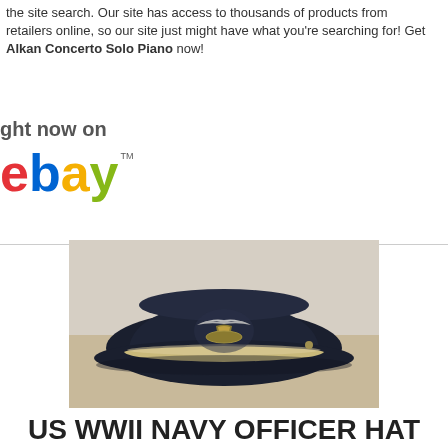the site search. Our site has access to thousands of products from retailers online, so our site just might have what you're searching for! Get Alkan Concerto Solo Piano now!
[Figure (logo): eBay logo with 'right now on' text above it]
[Figure (photo): US WWII Navy officer hat cap with USN bullion insignia on front, dark navy blue color with gold and silver badge]
US WWII NAVY OFFICER HAT CAP USN BULLION INSIGNIA OFFICERS